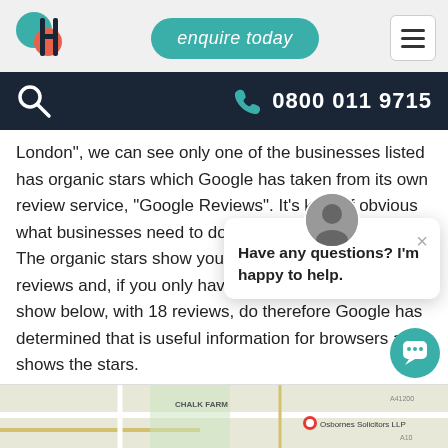[Figure (logo): Hybrid Legal logo with teal and coral overlapping circles and H letterform]
enquire today
[Figure (screenshot): Hamburger menu icon in white bordered box]
[Figure (screenshot): Dark navigation bar with search icon and phone number 0800 011 9715]
London", we can see only one of the businesses listed has organic stars which Google has taken from its own review service, “Google Reviews”. It’s kind of obvious what businesses need to do here - get Google reviews. The organic stars show your average results in Google reviews and, if you only have one not really be able to show below, with 18 reviews, do therefore Google has determined that is useful information for browsers and shows the stars.
[Figure (screenshot): Chat popup with avatar saying 'Have any questions? I'm happy to help.']
[Figure (map): Partial Google Map showing Chalk Farm area with Osbornes Solicitors LLP marker]